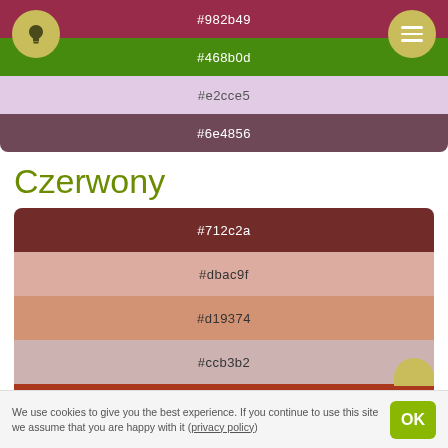[Figure (infographic): Top color palette with crimson #982b49, green #468b0d, lavender #e2cce5, mauve #6e4856 strips; lightbulb icon left, hamburger menu icon right]
Czerwony
[Figure (infographic): Czerwony color palette with strips: #712c2a, #dbac9f, #d19374, #ccb3b2, #a9381c]
Zielony
We use cookies to give you the best experience. If you continue to use this site we assume that you are happy with it (privacy policy)